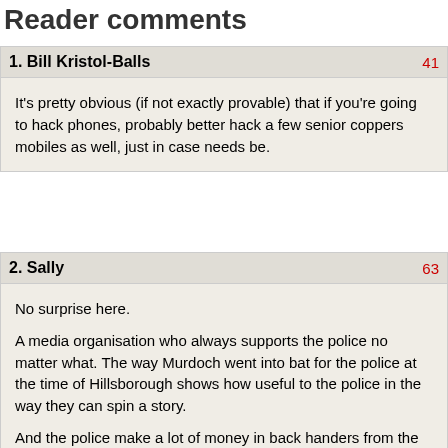Reader comments
1. Bill Kristol-Balls
It's pretty obvious (if not exactly provable) that if you're going to hack phones, probably better hack a few senior coppers mobiles as well, just in case needs be.
2. Sally
No surprise here.

A media organisation who always supports the police no matter what. The way Murdoch went into bat for the police at the time of Hillsborough shows how useful to the police in the way they can spin a story.

And the police make a lot of money in back handers from the media with a wink every time someone famous gets arrested. How do you think they know which police station to stand outside?